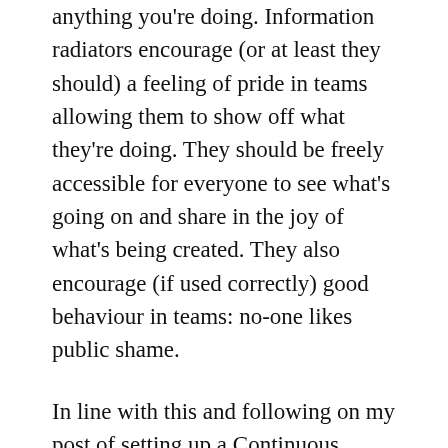anything you're doing. Information radiators encourage (or at least they should) a feeling of pride in teams allowing them to show off what they're doing. They should be freely accessible for everyone to see what's going on and share in the joy of what's being created. They also encourage (if used correctly) good behaviour in teams: no-one likes public shame.
In line with this and following on my post of setting up a Continuous Integration environment with Hudson and .NET I decided to go about putting in place an effective Build Dashboard. For me an effective dashboard (or information radiator) is one that gives as much relevant information as possible with the least amount of effort to read. So, lots of flash, none